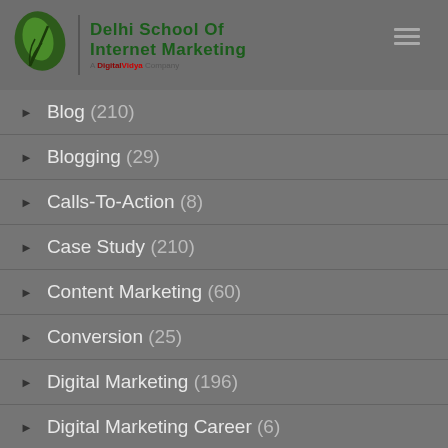Delhi School Of Internet Marketing — A Digital Vidya Company
Blog (210)
Blogging (29)
Calls-To-Action (8)
Case Study (210)
Content Marketing (60)
Conversion (25)
Digital Marketing (196)
Digital Marketing Career (6)
Digital Marketing Course (4)